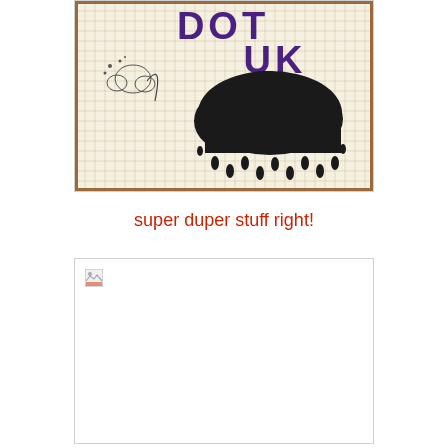[Figure (illustration): Framed illustration on graph paper background showing bold purple text 'DOT UK' at top, a large black rain cloud in the center-right, and a small decorative doodle (flower/cloud puff) with swirling line on the left. Black raindrops falling beneath the cloud. Wooden or brown frame border.]
super duper stuff right!
[Figure (photo): Broken/missing image placeholder — white rectangle with a small broken image icon in the top-left corner.]